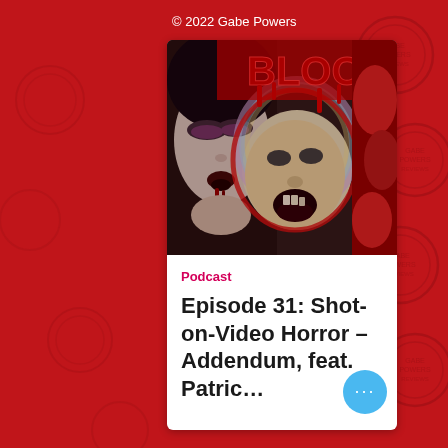© 2022 Gabe Powers
[Figure (screenshot): Podcast episode card showing horror movie collage image with a vampire woman and a distorted screaming face, overlaid with dripping red text. Below the image: 'Podcast' label in pink/magenta, and episode title 'Episode 31: Shot-on-Video Horror – Addendum, feat. Patric...' in bold dark text. A blue circular more-options button appears at bottom right.]